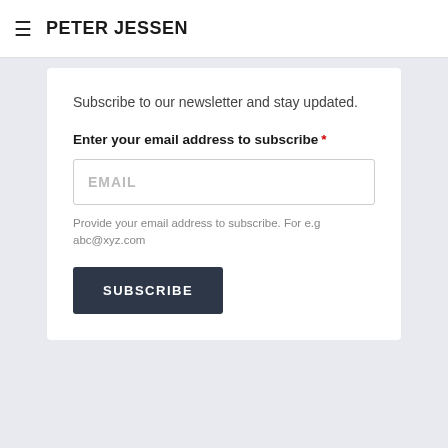PETER JESSEN
Subscribe to our newsletter and stay updated.
Enter your email address to subscribe *
EMAIL
Provide your email address to subscribe. For e.g abc@xyz.com
SUBSCRIBE